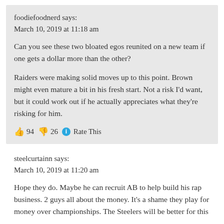foodiefoodnerd says:
March 10, 2019 at 11:18 am
Can you see these two bloated egos reunited on a new team if one gets a dollar more than the other?

Raiders were making solid moves up to this point. Brown might even mature a bit in his fresh start. Not a risk I’d want, but it could work out if he actually appreciates what they’re risking for him.
👍 94 👎 26 ⓘ Rate This
steelcurtainn says:
March 10, 2019 at 11:20 am
Hope they do. Maybe he can recruit AB to help build his rap business. 2 guys all about the money. It’s a shame they play for money over championships. The Steelers will be better for this